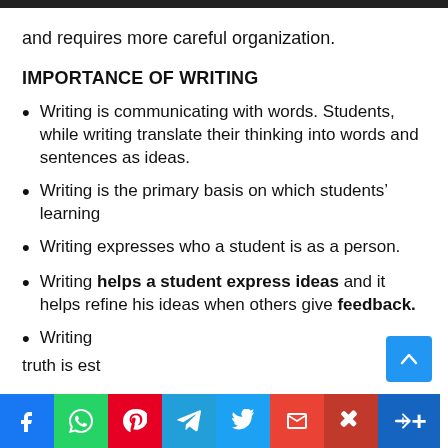and requires more careful organization.
IMPORTANCE OF WRITING
Writing is communicating with words. Students, while writing translate their thinking into words and sentences as ideas.
Writing is the primary basis on which students' learning
Writing expresses who a student is as a person.
Writing helps a student express ideas and it helps refine his ideas when others give feedback.
Writing [social bar obscures rest] truth is est...